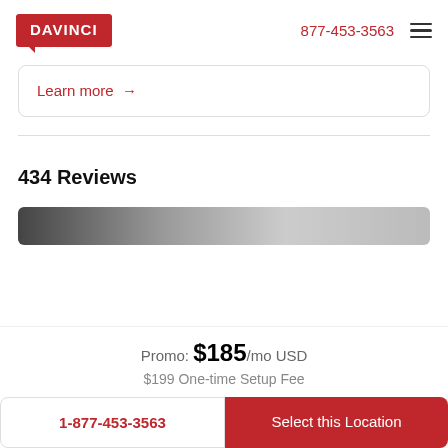DAVINCI | 877-453-3563
Learn more →
434 Reviews
[Figure (photo): Dark strip image showing a partial photo, likely of an office or person]
Promo: $185/mo USD
$199 One-time Setup Fee
1-877-453-3563
Select this Location